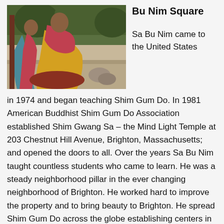[Figure (photo): Two people in colorful robes (gold and red/pink) kneeling together outdoors, trees and gravel in background.]
Bu Nim Square
Sa Bu Nim came to the United States in 1974 and began teaching Shim Gum Do. In 1981 American Buddhist Shim Gum Do Association established Shim Gwang Sa – the Mind Light Temple at 203 Chestnut Hill Avenue, Brighton, Massachusetts; and opened the doors to all. Over the years Sa Bu Nim taught countless students who came to learn. He was a steady neighborhood pillar in the ever changing neighborhood of Brighton. He worked hard to improve the property and to bring beauty to Brighton. He spread Shim Gum Do across the globe establishing centers in Korea, the United States and Italy. Help us honor the legacy of Shim Gum Do Founding Master Great Zen Master Chang Sik Kim, please